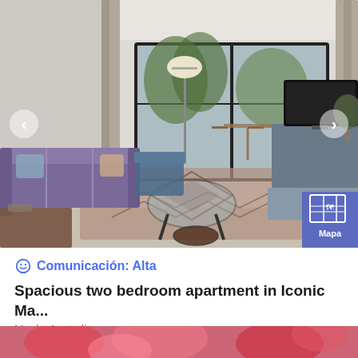[Figure (photo): Interior photo of a spacious living room with a purple sofa, glass coffee table, patterned area rug, large sliding glass doors to a balcony with trees, and a TV on the right side. Navigation arrows on left and right sides.]
Comunicación: Alta
Spacious two bedroom apartment in Iconic Ma...
Manly, Australia
4   2   2
240 Puntos / noche
[Figure (photo): Partial view of a colorful floral image at the very bottom of the page]